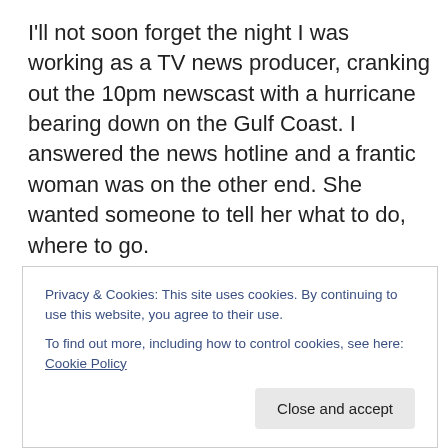I'll not soon forget the night I was working as a TV news producer, cranking out the 10pm newscast with a hurricane bearing down on the Gulf Coast. I answered the news hotline and a frantic woman was on the other end. She wanted someone to tell her what to do, where to go.
As a news producer, I gave people the facts, information that they could use to make a decision for themselves. It wasn't my place to tell this woman whether to stay or go or whether she should head north, east or west, just as I cannot write here what you should do in the event a
Privacy & Cookies: This site uses cookies. By continuing to use this website, you agree to their use.
To find out more, including how to control cookies, see here: Cookie Policy